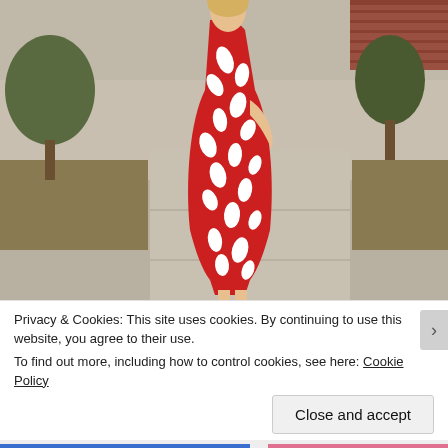[Figure (photo): A woman wearing a red strapless dress with white leaf/petal pattern, standing outdoors on a sidewalk, posed sideways with hand on hip. Background shows a suburban street with grass, trees, and a brick building.]
Privacy & Cookies: This site uses cookies. By continuing to use this website, you agree to their use.
To find out more, including how to control cookies, see here: Cookie Policy
Close and accept